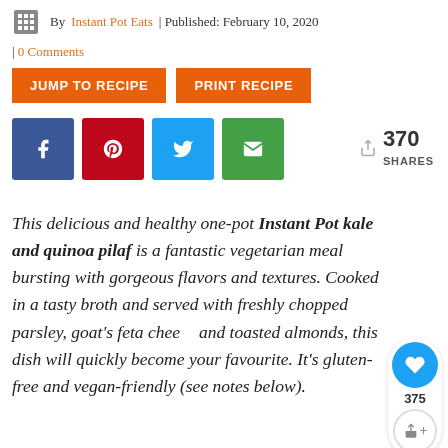By Instant Pot Eats | Published: February 10, 2020 | 0 Comments
JUMP TO RECIPE   PRINT RECIPE
[Figure (infographic): Social share buttons: Facebook, Pinterest, Twitter, Email; 370 SHARES count]
This delicious and healthy one-pot Instant Pot kale and quinoa pilaf is a fantastic vegetarian meal bursting with gorgeous flavors and textures. Cooked in a tasty broth and served with freshly chopped parsley, goat's feta cheese and toasted almonds, this dish will quickly become your favourite. It's gluten-free and vegan-friendly (see notes below).